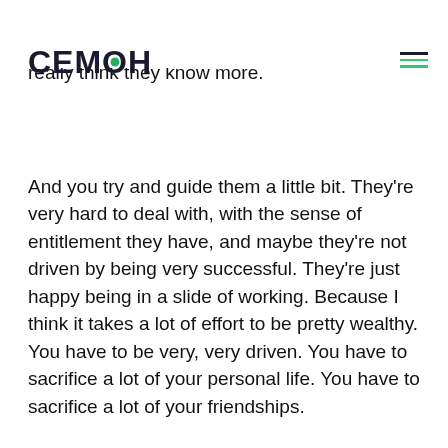CEMOH
you try and impart that to others, a lot of the young generation, these millennial's, they really think they know more.
And you try and guide them a little bit. They're very hard to deal with, with the sense of entitlement they have, and maybe they're not driven by being very successful. They're just happy being in a slide of working. Because I think it takes a lot of effort to be pretty wealthy. You have to be very, very driven. You have to sacrifice a lot of your personal life. You have to sacrifice a lot of your friendships.
You become manic with the business. And a lot of the other part of your life will suffer. I thought we can make sense to it. We totally do. If you spend 18 hours a day thinking about your business, 7 days a week, what time have you actually got to spend in a